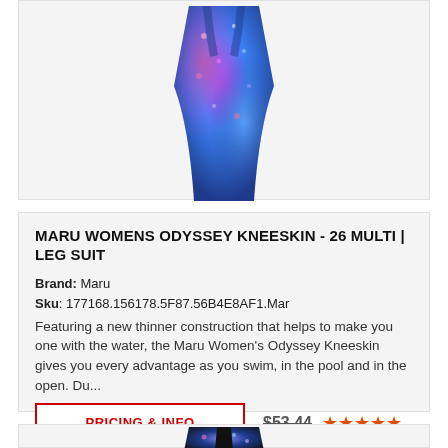[Figure (photo): Partial view of a colorful blue/purple multi-pattern swimsuit kneeskin product image, cropped at top of page]
MARU WOMENS ODYSSEY KNEESKIN - 26 MULTI | LEG SUIT
Brand: Maru
Sku: 177168.156178.5F87.56B4E8AF1.Mar
Featuring a new thinner construction that helps to make you one with the water, the Maru Women's Odyssey Kneeskin gives you every advantage as you swim, in the pool and in the open. Du...
PRICING & INFO
$53.44
[Figure (photo): Partial view of a blue/purple galaxy-pattern swimsuit product image at bottom of page]